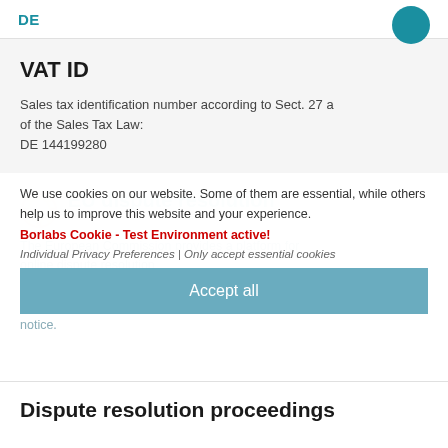DE
VAT ID
Sales tax identification number according to Sect. 27 a of the Sales Tax Law:
DE 144199280
EU dispute resolution
We use cookies on our website. Some of them are essential, while others help us to improve this website and your experience.
Borlabs Cookie - Test Environment active!
Individual Privacy Preferences | Only accept essential cookies
Accept all
The European Commission provides a platform for online dispute resolution (ODR
Our e-mail address can be found above in the site notice.
Dispute resolution proceedings